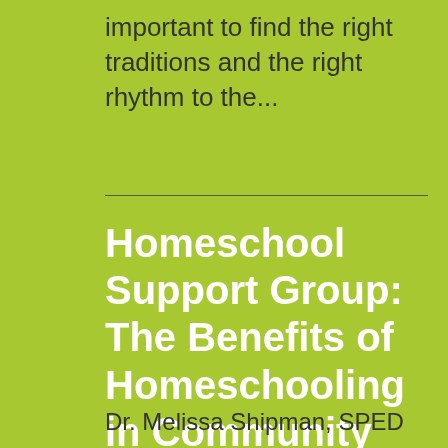important to find the right traditions and the right rhythm to the...
Homeschool Support Group: The Benefits of Homeschooling in Community
Dr. Melissa Shipman, SPED